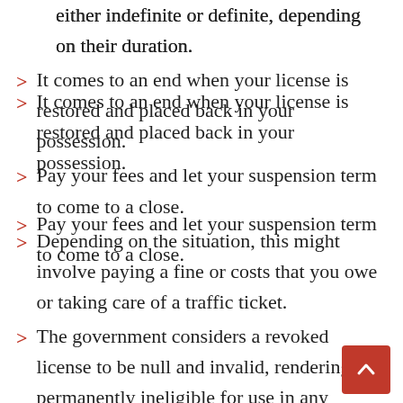either indefinite or definite, depending on their duration.
It comes to an end when your license is restored and placed back in your possession.
Pay your fees and let your suspension term to come to a close.
Depending on the situation, this might involve paying a fine or costs that you owe or taking care of a traffic ticket.
The government considers a revoked license to be null and invalid, rendering it permanently ineligible for use in any capacity.
If your driving privileges have been